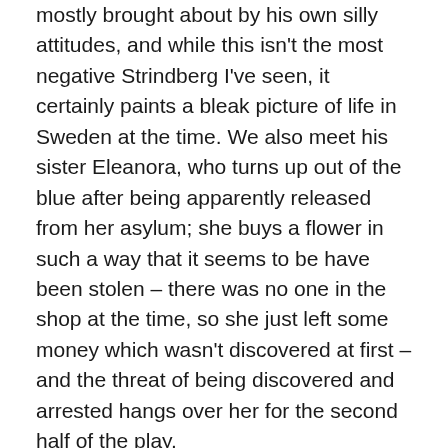mostly brought about by his own silly attitudes, and while this isn't the most negative Strindberg I've seen, it certainly paints a bleak picture of life in Sweden at the time. We also meet his sister Eleanora, who turns up out of the blue after being apparently released from her asylum; she buys a flower in such a way that it seems to be have been stolen – there was no one in the shop at the time, so she just left some money which wasn't discovered at first – and the threat of being discovered and arrested hangs over her for the second half of the play.
The set was pretty basic, as usual with Michael Friend productions, but nicely done all the same. The front door was far left, with a window at right angles beside it. There was a table to the right of that with a typewriter on it, and further to the right was a dining table with a couple of chairs. The exit to the kitchen was far right. Front and left